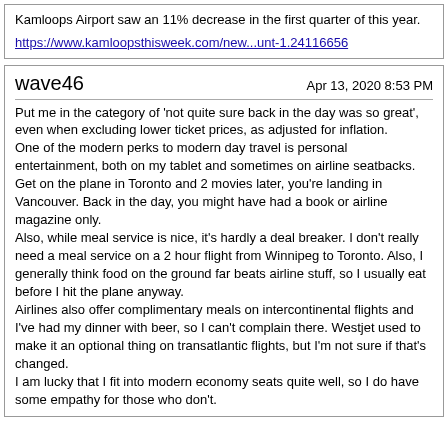Kamloops Airport saw an 11% decrease in the first quarter of this year.
https://www.kamloopsthisweek.com/new...unt-1.24116656
wave46
Apr 13, 2020 8:53 PM
Put me in the category of 'not quite sure back in the day was so great', even when excluding lower ticket prices, as adjusted for inflation.
One of the modern perks to modern day travel is personal entertainment, both on my tablet and sometimes on airline seatbacks. Get on the plane in Toronto and 2 movies later, you're landing in Vancouver. Back in the day, you might have had a book or airline magazine only.
Also, while meal service is nice, it's hardly a deal breaker. I don't really need a meal service on a 2 hour flight from Winnipeg to Toronto. Also, I generally think food on the ground far beats airline stuff, so I usually eat before I hit the plane anyway.
Airlines also offer complimentary meals on intercontinental flights and I've had my dinner with beer, so I can't complain there. Westjet used to make it an optional thing on transatlantic flights, but I'm not sure if that's changed.
I am lucky that I fit into modern economy seats quite well, so I do have some empathy for those who don't.